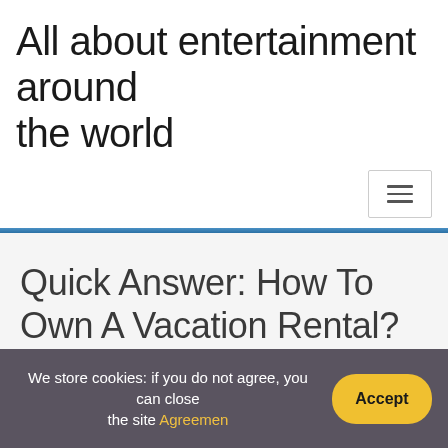All about entertainment around the world
Quick Answer: How To Own A Vacation Rental?
Home / Vacation / Quick Answer: How To Own A Vacation Rental?
We store cookies: if you do not agree, you can close the site Agreemen Accept